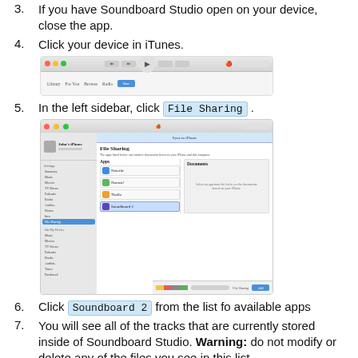3. If you have Soundboard Studio open on your device, close the app.
4. Click your device in iTunes.
[Figure (screenshot): iTunes application window showing the main interface with navigation bar and device icon.]
5. In the left sidebar, click File Sharing .
[Figure (screenshot): iTunes File Sharing screen showing the sidebar with John's iPhone selected, and the File Sharing panel with Apps column listing Notefile, Narrate!, Thallo, and Soundboard 2, and a Documents column on the right.]
6. Click Soundboard 2 from the list fo available apps
7. You will see all of the tracks that are currently stored inside of Soundboard Studio. Warning: do not modify or delete any of the files you see in this list.
8. Select all of the files listed inside of